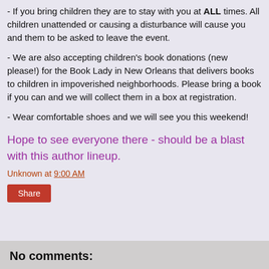- If you bring children they are to stay with you at ALL times. All children unattended or causing a disturbance will cause you and them to be asked to leave the event.
- We are also accepting children's book donations (new please!) for the Book Lady in New Orleans that delivers books to children in impoverished neighborhoods. Please bring a book if you can and we will collect them in a box at registration.
- Wear comfortable shoes and we will see you this weekend!
Hope to see everyone there - should be a blast with this author lineup.
Unknown at 9:00 AM
Share
No comments: